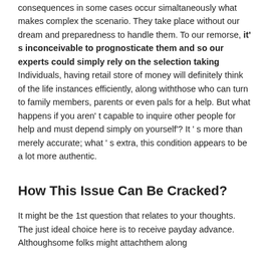consequences in some cases occur simaltaneously what makes complex the scenario. They take place without our dream and preparedness to handle them. To our remorse, it' s inconceivable to prognosticate them and so our experts could simply rely on the selection taking Individuals, having retail store of money will definitely think of the life instances efficiently, along withthose who can turn to family members, parents or even pals for a help. But what happens if you aren' t capable to inquire other people for help and must depend simply on yourself'? It ' s more than merely accurate; what ' s extra, this condition appears to be a lot more authentic.
How This Issue Can Be Cracked?
It might be the 1st question that relates to your thoughts. The just ideal choice here is to receive payday advance. Althoughsome folks might attachthem along...